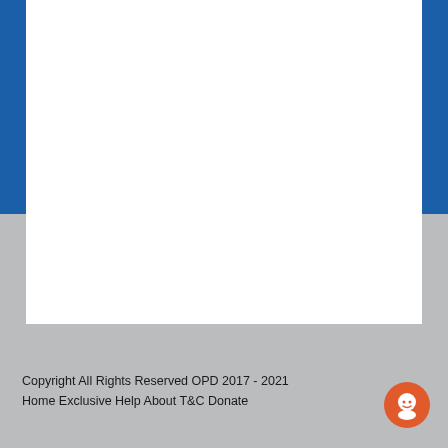[Figure (other): Blue header background panel at top of page with white content area in center-left region]
Copyright All Rights Reserved OPD 2017 - 2021
Home Exclusive Help About T&C Donate